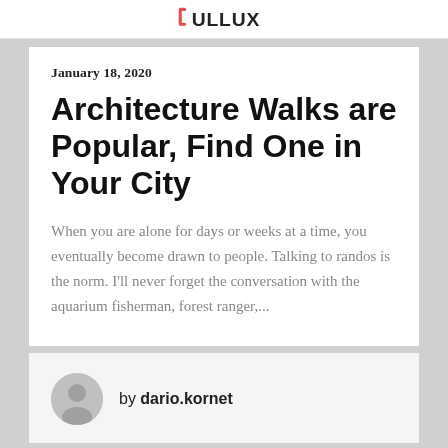ULLUX
January 18, 2020
Architecture Walks are Popular, Find One in Your City
When you are alone for days or weeks at a time, you eventually become drawn to people. Talking to randos is the norm. I'll never forget the conversation with the aquarium fisherman, forest ranger,...
by dario.kornet